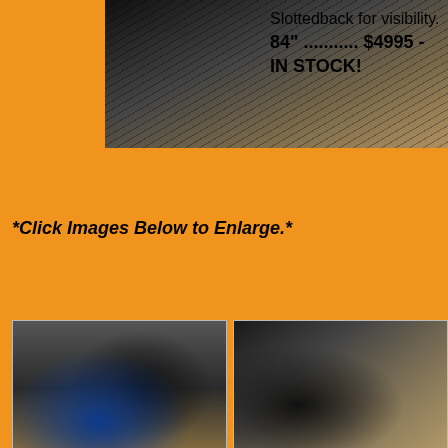[Figure (photo): Close-up photo of a slotted back bucket attachment for a skid steer or loader, showing metal tines/slots]
Slottedback for visibility.
84" ........... $4995 - IN STOCK!
*Click Images Below to Enlarge.*
[Figure (photo): Photo of bucket attachment on loader, front view showing bucket and loader arm]
[Figure (photo): Photo of bucket attachment on loader, side/angled view]
[Figure (photo): Photo of bucket attachment from top/rear angle showing mounting hardware]